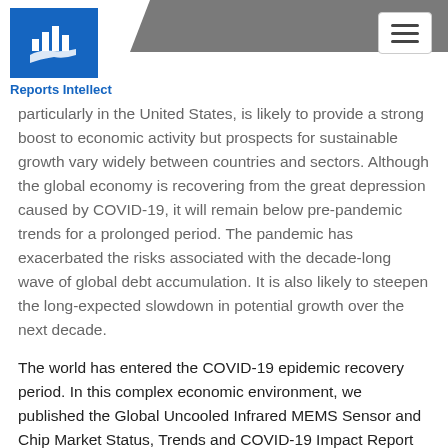Reports Intellect
particularly in the United States, is likely to provide a strong boost to economic activity but prospects for sustainable growth vary widely between countries and sectors. Although the global economy is recovering from the great depression caused by COVID-19, it will remain below pre-pandemic trends for a prolonged period. The pandemic has exacerbated the risks associated with the decade-long wave of global debt accumulation. It is also likely to steepen the long-expected slowdown in potential growth over the next decade.
The world has entered the COVID-19 epidemic recovery period. In this complex economic environment, we published the Global Uncooled Infrared MEMS Sensor and Chip Market Status, Trends and COVID-19 Impact Report 2021, which provides a comprehensive analysis of the global Uncooled Infrared MEMS Sensor and Chip market , This Report covers the manufacturer data, including: sales volume, price,